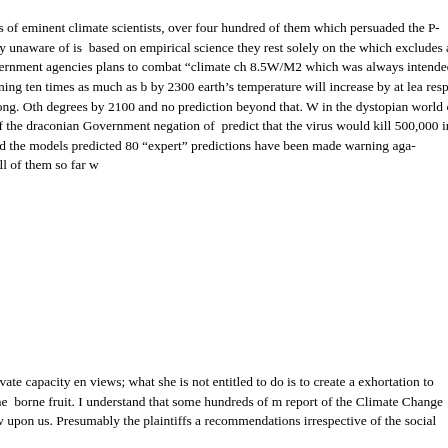This is a view shared by hundreds of eminent climate scientists, over four hundred of them which persuaded the P... learned Chief Justice is apparently unaware of is... based on empirical science they rest solely on the... which excludes any enquiry into the causes of na... government agencies plans to combat “climate ch... 8.5W/M2 which was always intended to be extrem... from coal in 2100, burning ten times as much as b... by 2300 earth’s temperature will increase by at lea... respect RCP8.5 is already hopelessly wrong. Oth... degrees by 2100 and no prediction beyond that. W... in the dystopian world of the Wuhan flue. Profess... breach of the draconian Government negation of ... predict that the virus would kill 500,000 in the Uni... died of it. In New Zealand the models predicted 80... “expert” predictions have been made warning aga... restrictions on personal liberty. All of them so far w...
The judge, is of course, in her private capacity en... views; what she is not entitled to do is to create a... exhortation to become climate warriors under the ... borne fruit. I understand that some hundreds of m... report of the Climate Change Commission on the ... which is now upon us. Presumably the plaintiffs a... recommendations irrespective of the social demo...